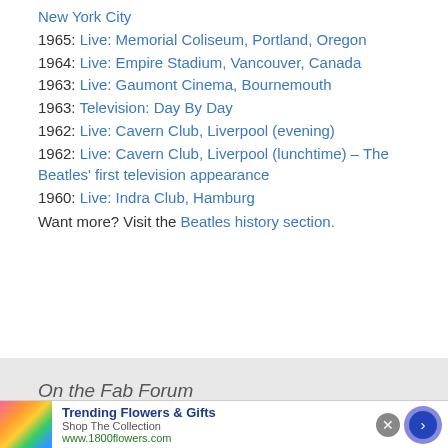New York City
1965: Live: Memorial Coliseum, Portland, Oregon
1964: Live: Empire Stadium, Vancouver, Canada
1963: Live: Gaumont Cinema, Bournemouth
1963: Television: Day By Day
1962: Live: Cavern Club, Liverpool (evening)
1962: Live: Cavern Club, Liverpool (lunchtime) – The Beatles' first television appearance
1960: Live: Indra Club, Hamburg
Want more? Visit the Beatles history section.
On the Fab Forum
Trending Flowers & Gifts
Shop The Collection
www.1800flowers.com